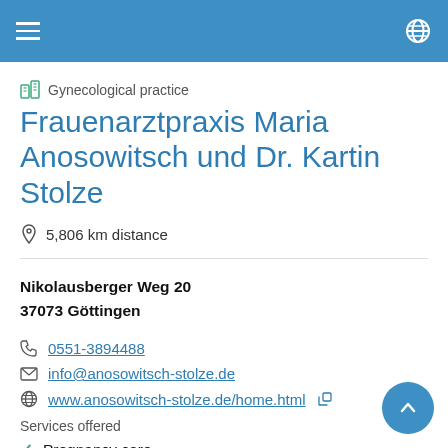Gynecological practice — Frauenarztpraxis Maria Anosowitsch und Dr. Kartin Stolze
Frauenarztpraxis Maria Anosowitsch und Dr. Kartin Stolze
5,806 km distance
Nikolausberger Weg 20
37073 Göttingen
0551-3894488
info@anosowitsch-stolze.de
www.anosowitsch-stolze.de/home.html
Services offered
Pregnancy care